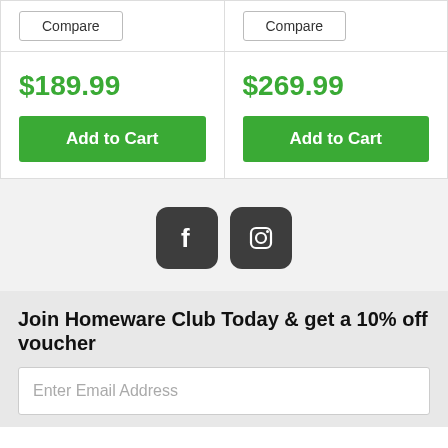| Product 1 | Product 2 |
| --- | --- |
| Compare | Compare |
| $189.99 | Add to Cart | $269.99 | Add to Cart |
[Figure (other): Social media icons: Facebook and Instagram, dark rounded square style]
Join Homeware Club Today & get a 10% off voucher
Enter Email Address